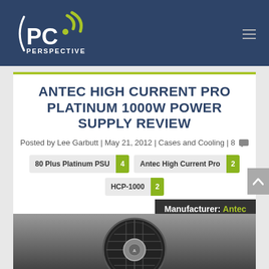[Figure (logo): PC Perspective website logo — white PC Perspective text with green antenna/signal graphic on dark blue header background]
ANTEC HIGH CURRENT PRO PLATINUM 1000W POWER SUPPLY REVIEW
Posted by Lee Garbutt | May 21, 2012 | Cases and Cooling | 8
80 Plus Platinum PSU 4   Antec High Current Pro 2   HCP-1000 2
Manufacturer: Antec
[Figure (photo): Black Antec HCP-1000 power supply unit viewed from above, showing large circular fan grill with Antec logo in center]